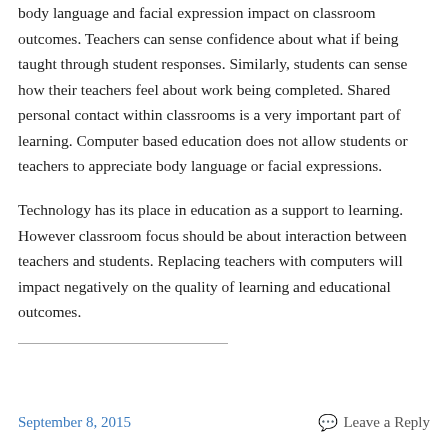body language and facial expression impact on classroom outcomes. Teachers can sense confidence about what if being taught through student responses. Similarly, students can sense how their teachers feel about work being completed. Shared personal contact within classrooms is a very important part of learning. Computer based education does not allow students or teachers to appreciate body language or facial expressions.
Technology has its place in education as a support to learning. However classroom focus should be about interaction between teachers and students. Replacing teachers with computers will impact negatively on the quality of learning and educational outcomes.
September 8, 2015   Leave a Reply